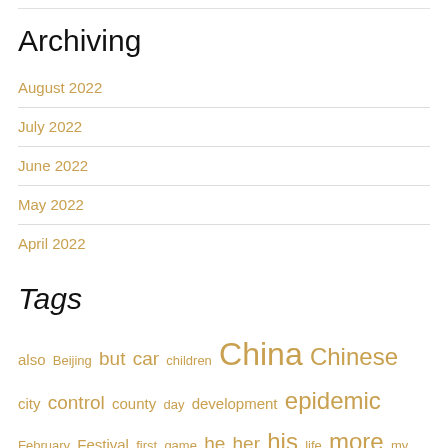Archiving
August 2022
July 2022
June 2022
May 2022
April 2022
Tags
also Beijing but car children China Chinese city control county day development epidemic February Festival first game he her his life more my New